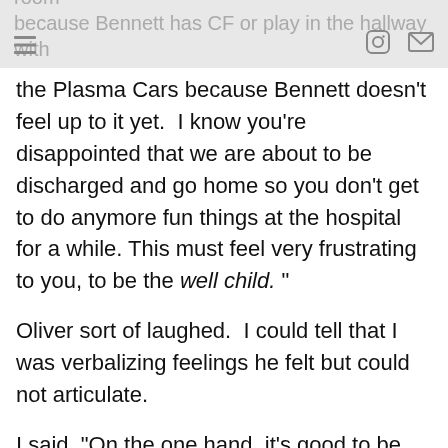how that you can't play in the hospital play room because Bennett has CF or play in the hallway with
the Plasma Cars because Bennett doesn't feel up to it yet.  I know you're disappointed that we are about to be discharged and go home so you don't get to do anymore fun things at the hospital for a while. This must feel very frustrating to you, to be the well child."
Oliver sort of laughed.  I could tell that I was verbalizing feelings he felt but could not articulate.
I said, "On the one hand, it's good to be the well child.  You aren't sick, so you feel really good and enjoy playing with your toys.  Bennett, being the sick child, doesn't feel good right now so he doesn't even want to play with his toys.